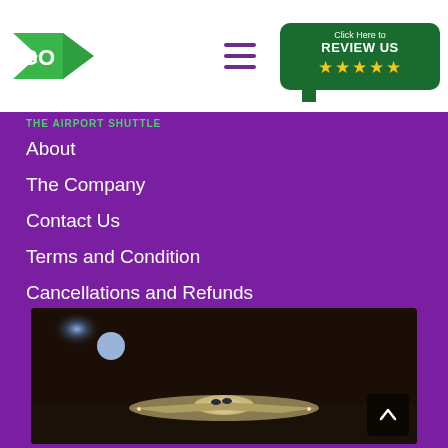[Figure (logo): GO Airport Shuttle logo - green arrow shape with GO text in white]
[Figure (infographic): Green review badge with text Click Here to REVIEW US and 5 yellow stars]
THE AIRPORT SHUTTLE
About
The Company
Contact Us
Terms and Condition
Cancellations and Refunds
Career Opportunities
News
Blog
[Figure (photo): A commercial airplane on the tarmac at night with moonlight in the background]